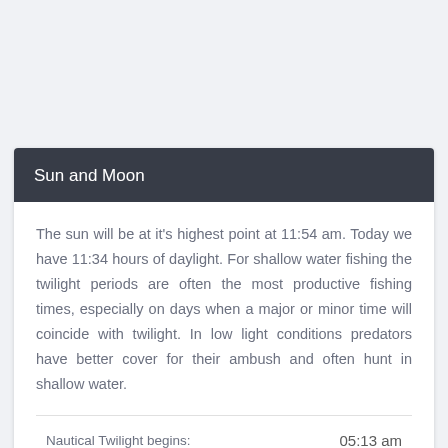Sun and Moon
The sun will be at it's highest point at 11:54 am. Today we have 11:34 hours of daylight. For shallow water fishing the twilight periods are often the most productive fishing times, especially on days when a major or minor time will coincide with twilight. In low light conditions predators have better cover for their ambush and often hunt in shallow water.
Nautical Twilight begins: 05:13 am
Sunrise: 06:06 am